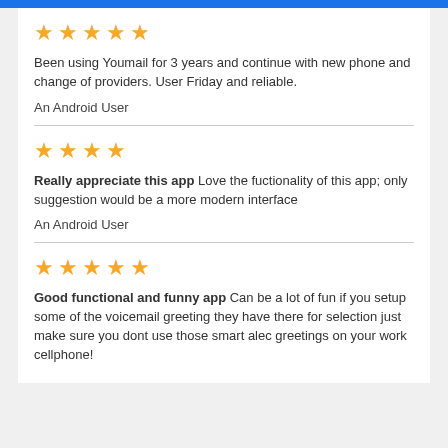[Figure (other): Blue header bar]
[Figure (other): 5 gold stars rating]
Been using Youmail for 3 years and continue with new phone and change of providers. User Friday and reliable.
An Android User
[Figure (other): 4 gold stars rating]
Really appreciate this app Love the fuctionality of this app; only suggestion would be a more modern interface
An Android User
[Figure (other): 5 gold stars rating]
Good functional and funny app Can be a lot of fun if you setup some of the voicemail greeting they have there for selection just make sure you dont use those smart alec greetings on your work cellphone!